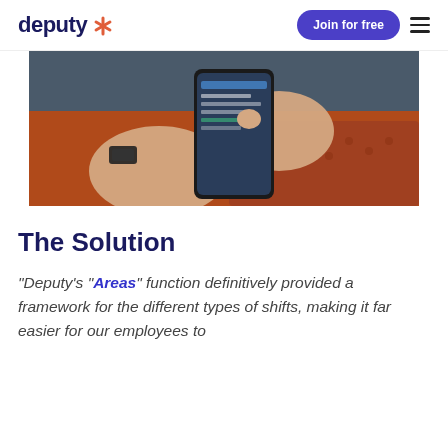deputy [logo] | Join for free | [menu]
[Figure (photo): Person holding a smartphone with both hands, using the app, wearing a black smartwatch, orange textured background visible.]
The Solution
"Deputy's "Areas" function definitively provided a framework for the different types of shifts, making it far easier for our employees to